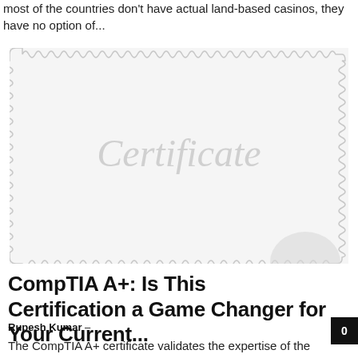most of the countries don't have actual land-based casinos, they have no option of...
[Figure (illustration): Certificate placeholder image with wavy/scalloped border and large italic 'Certificate' watermark text, with a partial circle badge in the bottom right corner]
CompTIA A+: Is This Certification a Game Changer for Your Current...
Rupesh Kumar –
0
The CompTIA A+ certificate validates the expertise of the professionals in various areas of IT, covering Cloud, data management, and security, among others. This...